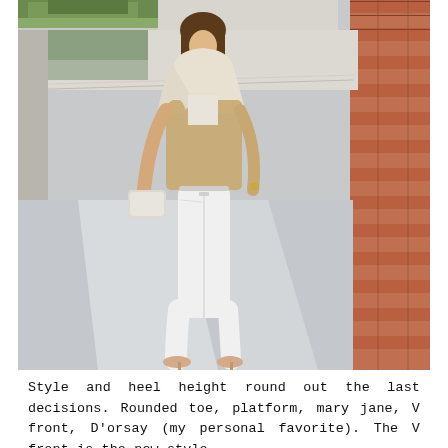[Figure (photo): A woman walking outdoors in a covered walkway/corridor. She wears white skinny jeans, a beige/cream knit top, a tan suede-look sleeveless vest with a large draped collar, nude heels, and carries a cream clutch bag. The background shows a brick wall on the right and a paved outdoor area with trees and greenery visible at the top left.]
Style and heel height round out the last decisions. Rounded toe, platform, mary jane, V front, D'orsay (my personal favorite). The V front is the new style